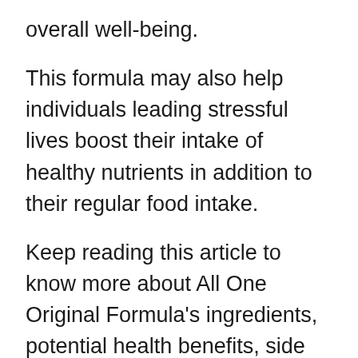overall well-being.
This formula may also help individuals leading stressful lives boost their intake of healthy nutrients in addition to their regular food intake.
Keep reading this article to know more about All One Original Formula's ingredients, potential health benefits, side effects, price, and more.
OVERVIEW
1) Quick Overview